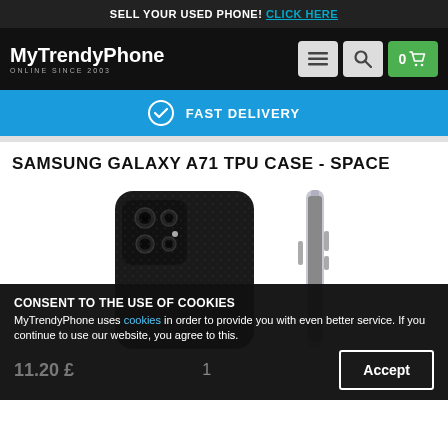SELL YOUR USED PHONE! CLICK HERE
[Figure (logo): MyTrendyPhone logo with text 'ONLINE SINCE 2003', plus navigation icons: hamburger menu, search, and cart showing 0 items]
FAST DELIVERY
SAMSUNG GALAXY A71 TPU CASE - SPACE
[Figure (photo): Samsung Galaxy A71 with black TPU space case - back view showing quad camera, and side profile view]
CONSENT TO THE USE OF COOKIES
MyTrendyPhone uses cookies in order to provide you with even better service. If you continue to use our website, you agree to this.
11.20 £
1
Accept